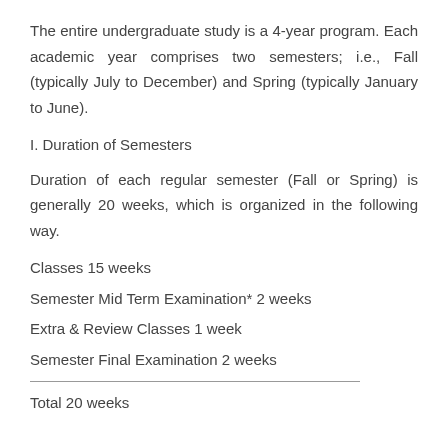The entire undergraduate study is a 4-year program. Each academic year comprises two semesters; i.e., Fall (typically July to December) and Spring (typically January to June).
I. Duration of Semesters
Duration of each regular semester (Fall or Spring) is generally 20 weeks, which is organized in the following way.
Classes 15 weeks
Semester Mid Term Examination* 2 weeks
Extra & Review Classes 1 week
Semester Final Examination 2 weeks
Total 20 weeks